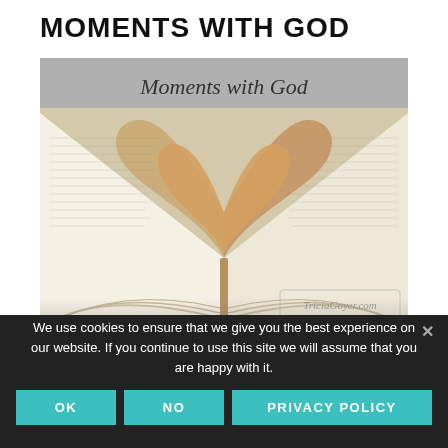MOMENTS WITH GOD
[Figure (photo): An open book with pages folded into a heart shape. A banner at the top reads 'Moments with God' in script font. A watermark 'TriciaGoyer.com' is visible at the bottom right.]
We use cookies to ensure that we give you the best experience on our website. If you continue to use this site we will assume that you are happy with it.
OK
NO
PRIVACY POLICY